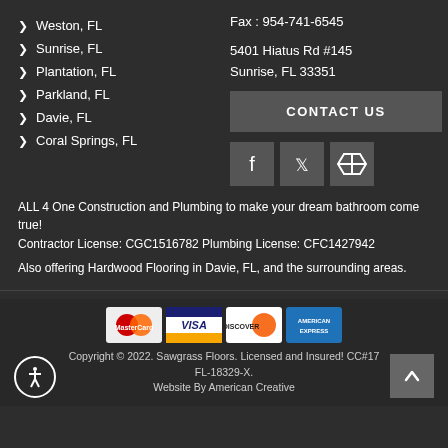Weston, FL
Fax : 954-741-6545
Sunrise, FL
5401 Hiatus Rd #145
Plantation, FL
Sunrise, FL 33351
Parkland, FL
Davie, FL
Coral Springs, FL
CONTACT US
[Figure (infographic): Social media icons: Facebook, Twitter, Houzz]
ALL 4 One Construction and Plumbing to make your dream bathroom come true!
Contractor License: CGC1516782 Plumbing License: CFC1427942
Also offering Hardwood Flooring in Davie, FL, and the surrounding areas.
[Figure (infographic): Payment method icons: MasterCard, Visa, Discover, American Express]
Copyright © 2022. Sawgrass Floors. Licensed and Insured! CC#17 FL-18329-X.
Website By American Creative